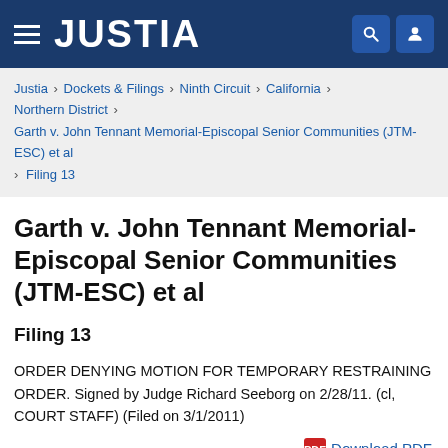JUSTIA
Justia › Dockets & Filings › Ninth Circuit › California › Northern District › Garth v. John Tennant Memorial-Episcopal Senior Communities (JTM-ESC) et al › Filing 13
Garth v. John Tennant Memorial-Episcopal Senior Communities (JTM-ESC) et al
Filing 13
ORDER DENYING MOTION FOR TEMPORARY RESTRAINING ORDER. Signed by Judge Richard Seeborg on 2/28/11. (cl, COURT STAFF) (Filed on 3/1/2011)
Download PDF